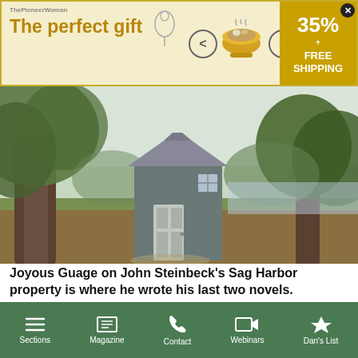[Figure (photo): Advertisement banner for a gift item with the text 'The perfect gift', navigation arrows, a bowl image, and a 35% + FREE SHIPPING offer badge.]
[Figure (photo): Outdoor photograph of a small gray shed or cottage with white-framed windows on a grassy property with large trees, near a body of water in the background – John Steinbeck's Sag Harbor property.]
Joyous Guage on John Steinbeck's Sag Harbor property is where he wrote his last two novels.
Credit: Gavin Zeigler for Sotheby's International Realty
[Figure (infographic): Social sharing buttons: Facebook (blue), Twitter (light blue), Email (gray), Add/More (red/orange)]
Get In-Depth Insights and Exclusive Content Delivered Direct to You.
Sections | Magazine | Contact | Webinars | Dan's List